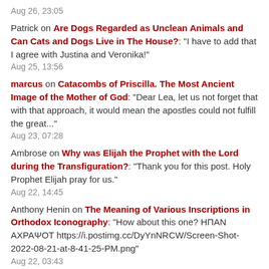Aug 26, 23:05
Patrick on Are Dogs Regarded as Unclean Animals and Can Cats and Dogs Live in The House?: "I have to add that I agree with Justina and Veronika!"
Aug 25, 13:56
marcus on Catacombs of Priscilla. The Most Ancient Image of the Mother of God: "Dear Lea, let us not forget that with that approach, it would mean the apostles could not fulfill the great..."
Aug 23, 07:28
Ambrose on Why was Elijah the Prophet with the Lord during the Transfiguration?: "Thank you for this post. Holy Prophet Elijah pray for us."
Aug 22, 14:45
Anthony Henin on The Meaning of Various Inscriptions in Orthodox Iconography: "How about this one? ΗΠΑΝ ΑΧΡΑΨΟΤ https://i.postimg.cc/DyYnNRCW/Screen-Shot-2022-08-21-at-8-41-25-PM.png"
Aug 22, 03:43